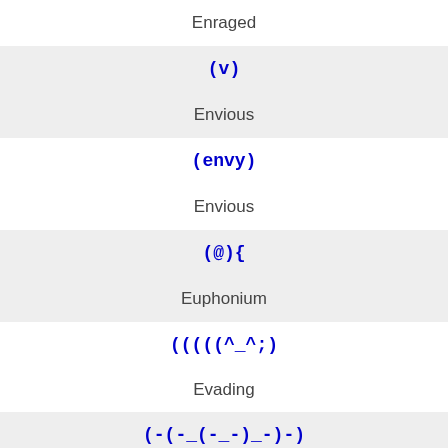Enraged
(v)
Envious
(envy)
Envious
(@){
Euphonium
(((((^_^;)
Evading
(-(-_(-_-)_-)-)
Evil Aliens
>:3